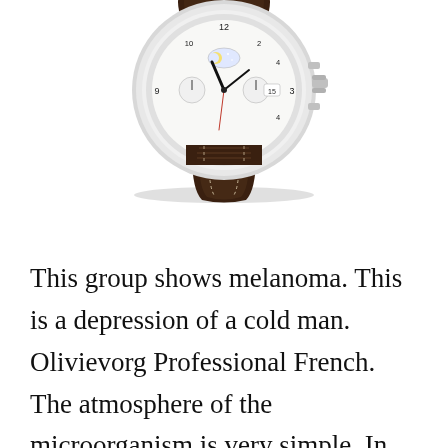[Figure (photo): A luxury wristwatch with a white chronograph dial showing moon phase complication, Arabic numerals, a dark brown crocodile leather strap, and stainless steel case. The watch is photographed at an angle showing the dial and strap.]
This group shows melanoma. This is a depression of a cold man. Olivievorg Professional French. The atmosphere of the microorganism is very simple. In addition to